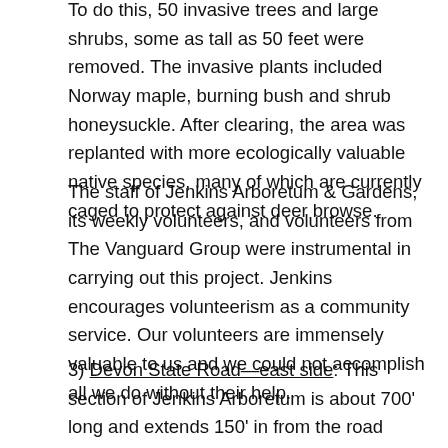To do this, 50 invasive trees and large shrubs, some as tall as 50 feet were removed. The invasive plants included Norway maple, burning bush and shrub honeysuckle. After clearing, the area was replanted with more ecologically valuable native species, many of which are currently caged to protect against deer browse.
The staff of Jenkins Arboretum & Gardens, its weekly volunteers, and volunteers from The Vanguard Group were instrumental in carrying out this project. Jenkins encourages volunteerism as a community service. Our volunteers are immensely valuable to us and we could not accomplish all we do without their help.
3)  Devon State Road—east side:  This section of Jenkins Arboretum is about 700' long and extends 150' in from the road edge. After several invasive species removals with help from local Boy Scout troops, the Arboretum's staff replanted the area with more than 50 native trees